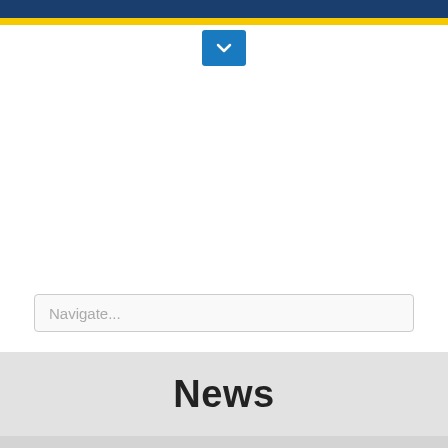[Figure (screenshot): Website header with dark blue top bar and yellow accent bar, with a blue dropdown chevron button below]
Navigate...
News
You are here: Home > News
7 Apr 2021
Natural Hazards
Read the latest on natural hazards in the Journal Nature's portfolio of Natural Hazard articles... Read More